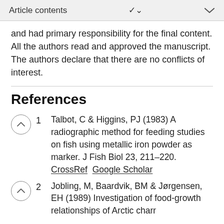Article contents
and had primary responsibility for the final content. All the authors read and approved the manuscript. The authors declare that there are no conflicts of interest.
References
1  Talbot, C & Higgins, PJ (1983) A radiographic method for feeding studies on fish using metallic iron powder as marker. J Fish Biol 23, 211–220. CrossRef  Google Scholar
2  Jobling, M, Baardvik, BM & Jørgensen, EH (1989) Investigation of food-growth relationships of Arctic charr